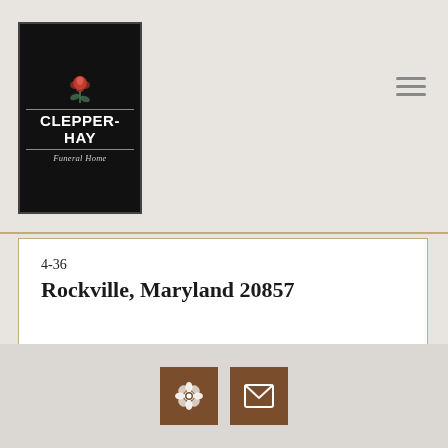[Figure (logo): Clepper-Hay Funeral Home logo — black rectangle with a rose icon and white text reading CLEPPER-HAY Funeral Home]
4-36
Rockville, Maryland 20857
[Figure (infographic): Two brown icon buttons: a flower/settings icon and an envelope/mail icon]